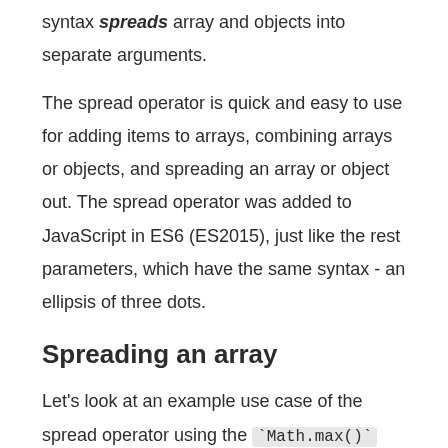syntax spreads array and objects into separate arguments.
The spread operator is quick and easy to use for adding items to arrays, combining arrays or objects, and spreading an array or object out. The spread operator was added to JavaScript in ES6 (ES2015), just like the rest parameters, which have the same syntax - an ellipsis of three dots.
Spreading an array
Let's look at an example use case of the spread operator using the `Math.max()` function. This